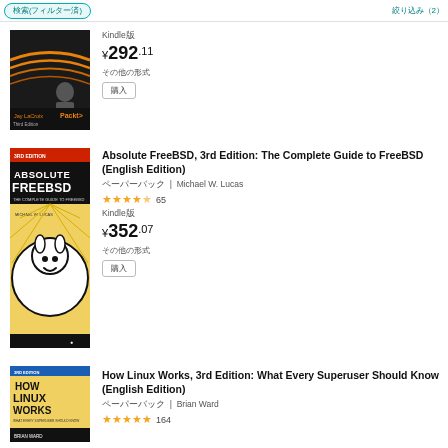[Figure (screenshot): Product listing page showing three books: a Linux/networking book (Packt, Jay LaCroix), Absolute FreeBSD 3rd Edition, and How Linux Works 3rd Edition]
Kindle版
¥292.11
カートに入れる
Absolute FreeBSD, 3rd Edition: The Complete Guide to FreeBSD (English Edition)
ペーパーバック | Michael W. Lucas
★★★★½ 65
Kindle版
¥352.07
カートに入れる
How Linux Works, 3rd Edition: What Every Superuser Should Know (English Edition)
ペーパーバック | Brian Ward
★★★★★ 164